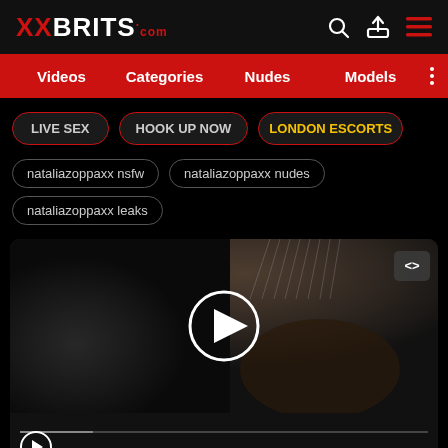XXBRITS.com
Videos | Categories | Nudes | Models
LIVE SEX | HOOK UP NOW | LONDON ESCORTS
nataliazoppaxx nsfw | nataliazoppaxx nudes
nataliazoppaxx leaks
[Figure (screenshot): Video thumbnail showing a shower scene with play button overlay and embed button]
Sign